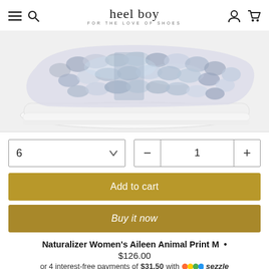heel boy — FOR THE LOVE OF SHOES
[Figure (photo): Snake-print slip-on sneaker with white sole, side profile view, on white background]
6 (size selector dropdown) | − 1 + (quantity control)
Add to cart
Buy it now
Naturalizer Women's Aileen Animal Print M •
$126.00
or 4 interest-free payments of $31.50 with 🎨 sezzle